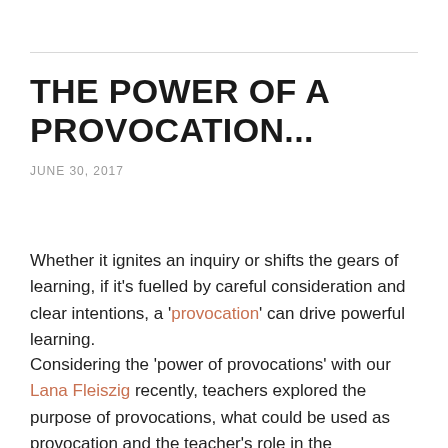THE POWER OF A PROVOCATION...
JUNE 30, 2017
Whether it ignites an inquiry or shifts the gears of learning, if it's fuelled by careful consideration and clear intentions, a 'provocation' can drive powerful learning.
Considering the 'power of provocations' with our Lana Fleiszig recently, teachers explored the purpose of provocations, what could be used as provocation and the teacher's role in the provocation process. The most